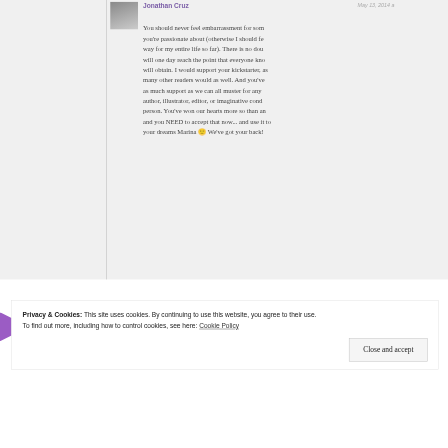Jonathan Cruz — May 13, 2014
You should never feel embarrassment for something you're passionate about (otherwise I should feel that way for my entire life so far). There is no doubt you will one day reach the point that everyone knows you will obtain. I would support your kickstarter, as I know many other readers would as well. And you've gotten as much support as we can all muster for any author, illustrator, editor, or imaginative conduit person. You've won our hearts more so than any, and you NEED to accept that now... and use it to live your dreams Marina 🙂 We've got your back!
Privacy & Cookies: This site uses cookies. By continuing to use this website, you agree to their use.
To find out more, including how to control cookies, see here: Cookie Policy
Close and accept